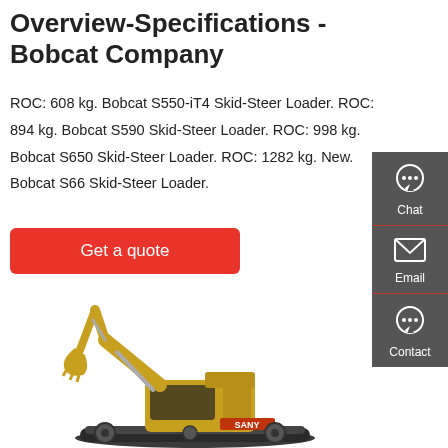Overview-Specifications - Bobcat Company
ROC: 608 kg. Bobcat S550-iT4 Skid-Steer Loader. ROC: 894 kg. Bobcat S590 Skid-Steer Loader. ROC: 998 kg. Bobcat S650 Skid-Steer Loader. ROC: 1282 kg. New. Bobcat S66 Skid-Steer Loader.
Get a quote
[Figure (illustration): Yellow and black SANY excavator/construction machine on white background]
[Figure (infographic): Side panel with Chat, Email, and Contact icons on dark grey background]